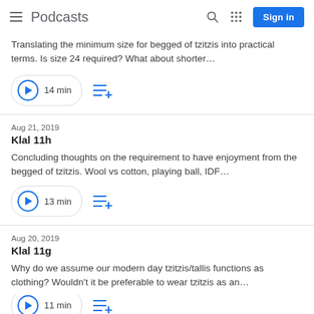Podcasts
Translating the minimum size for begged of tzitzis into practical terms. Is size 24 required? What about shorter…
14 min
Aug 21, 2019
Klal 11h
Concluding thoughts on the requirement to have enjoyment from the begged of tzitzis. Wool vs cotton, playing ball, IDF…
13 min
Aug 20, 2019
Klal 11g
Why do we assume our modern day tzitzis/tallis functions as clothing? Wouldn't it be preferable to wear tzitzis as an…